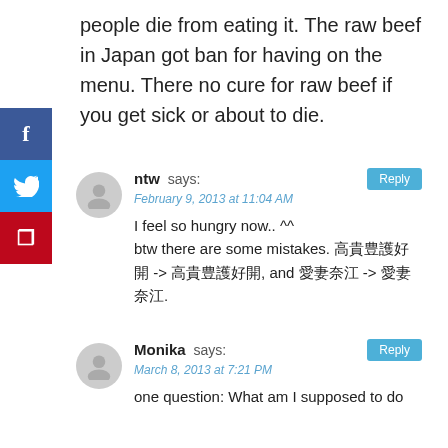people die from eating it. The raw beef in Japan got ban for having on the menu. There no cure for raw beef if you get sick or about to die.
ntw says: February 9, 2013 at 11:04 AM
I feel so hungry now.. ^^
btw there are some mistakes. 高貴豊護好開 -> 高貴豊護好開, and 愛妻奈江 -> 愛妻奈江.
Monika says: March 8, 2013 at 7:21 PM
one question: What am I supposed to do